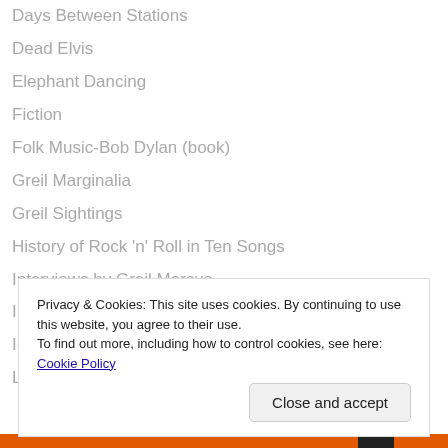Days Between Stations
Dead Elvis
Elephant Dancing
Fiction
Folk Music-Bob Dylan (book)
Greil Marginalia
Greil Sightings
History of Rock 'n' Roll in Ten Songs
Interviews by Greil Marcus
Interviews with Greil Marcus
Invisible Republic/Old Weird America
Like a Rolling Stone: Bob Dylan at the Crossroads
Privacy & Cookies: This site uses cookies. By continuing to use this website, you agree to their use. To find out more, including how to control cookies, see here: Cookie Policy
Close and accept